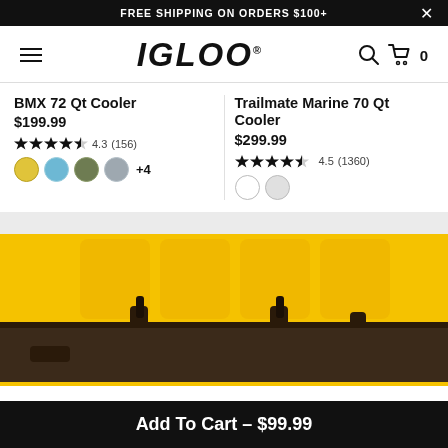FREE SHIPPING ON ORDERS $100+
[Figure (logo): IGLOO brand logo with hamburger menu, search icon, and cart icon (0 items)]
BMX 72 Qt Cooler
$199.99
4.3 (156)
Trailmate Marine 70 Qt Cooler
$299.99
4.5 (1360)
[Figure (photo): Close-up photo of a yellow and dark brown/black cooler latch and lid detail]
Add To Cart - $99.99